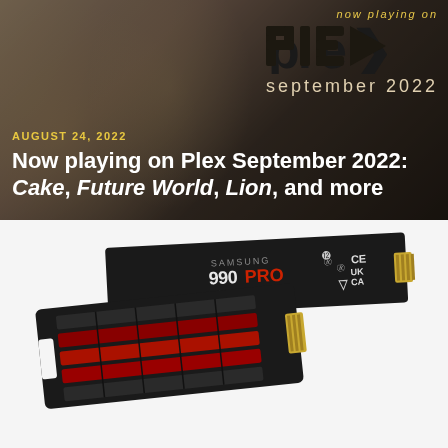[Figure (illustration): Top banner with Plex media player logo, 'now playing on' text, 'september 2022' text, and background with feather/wing texture on dark warm-toned background]
AUGUST 24, 2022
Now playing on Plex September 2022: Cake, Future World, Lion, and more
[Figure (photo): Samsung 990 PRO with Heatsink NVMe SSD, 2TB model, shown at an angle. The SSD has a dark heatsink with red accents/fins on the left side and gold connector pins on the right. CE, UKCA, and other certification marks visible.]